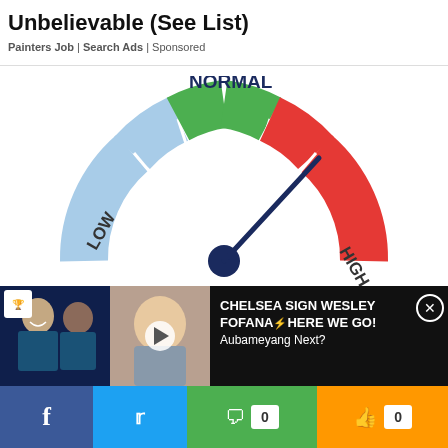Unbelievable (See List)
Painters Job | Search Ads | Sponsored
[Figure (infographic): A semicircular gauge/meter diagram showing blood sugar levels. The gauge has three colored sections: blue on the left labeled LOW, green in the center labeled NORMAL, and red on the right labeled HIGH. A dark navy needle points toward the HIGH section. Below the gauge is the label BLOOD SUGAR in large bold navy text.]
[Figure (screenshot): Video overlay banner at bottom showing two football players on dark blue background on the left, a video thumbnail of a man in center with play button, and text reading: CHELSEA SIGN WESLEY FOFANA HERE WE GO! Aubameyang Next? with a close button (X circle) on the right.]
CHELSEA SIGN WESLEY FOFANA HERE WE GO! Aubameyang Next?
[Figure (infographic): Social share bar with Facebook (blue), Twitter (light blue), comment count (green, 0), and like count (orange, 0) buttons.]